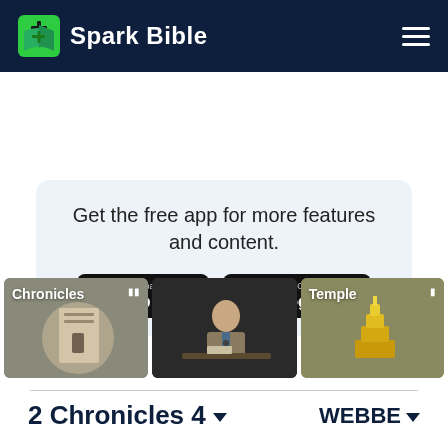[Figure (logo): Spark Bible logo with green open book icon and white cross, white text 'Spark Bible' on dark navy header, hamburger menu icon on right]
Get the free app for more features and content.
[Figure (infographic): App Store download button (black, Apple logo)]
[Figure (infographic): Google Play download button (black, Google Play triangle logo)]
[Figure (photo): Thumbnail: Chronicles - illustrated figure with gray background and book]
[Figure (photo): Thumbnail: Elderly man seated at desk with Bible, dark background]
[Figure (photo): Thumbnail: Temple - golden pyramid/temple structure on olive background]
2 Chronicles 4
WEBBE